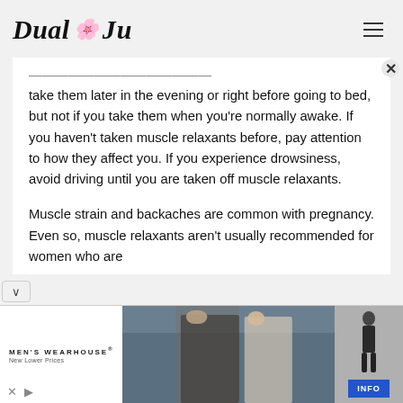Dual Ju
take them later in the evening or right before going to bed, but not if you take them when you're normally awake. If you haven't taken muscle relaxants before, pay attention to how they affect you. If you experience drowsiness, avoid driving until you are taken off muscle relaxants.
Muscle strain and backaches are common with pregnancy. Even so, muscle relaxants aren't usually recommended for women who are
[Figure (photo): Men's Wearhouse advertisement showing a man in a dark suit and a woman in a white dress, with another man in a suit on the right side and an INFO button]